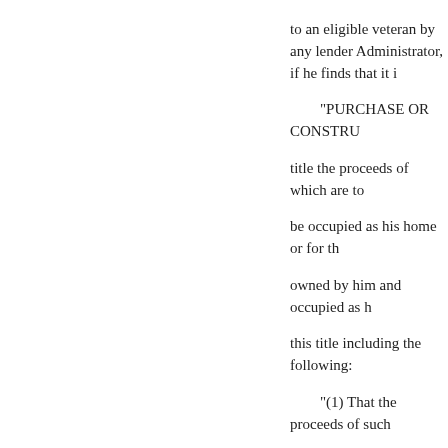to an eligible veteran by any lender Administrator, if he finds that it i
"PURCHASE OR CONSTRU title the proceeds of which are to be occupied as his home or for th owned by him and occupied as h this title including the following:
"(1) That the proceeds of such improved;
"(2) That the contemplated ter purchase price or the constructio and expenses; and that the nature purposes; and
"(3) That the price paid or to b repairs, or alterations does not ex by an appraiser designated by the
"PURCHASE OF FARMS AN title, the proceeds of which are to machinery, supplies or implemer equipment, or building, including involving production in excess o operations, or to purchase stock